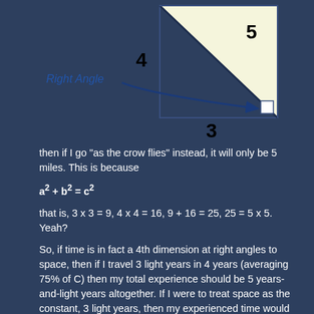[Figure (illustration): A right triangle diagram showing sides labeled 3 (base), 4 (vertical), and 5 (hypotenuse). A right angle marker is shown at the bottom-right corner. An arrow labeled 'Right Angle' points to the right angle symbol. The triangle is drawn on a light-yellow background inside a white-bordered box.]
then if I go "as the crow flies" instead, it will only be 5 miles. This is because
that is, 3 x 3 = 9, 4 x 4 = 16, 9 + 16 = 25, 25 = 5 x 5. Yeah?
So, if time is in fact a 4th dimension at right angles to space, then if I travel 3 light years in 4 years (averaging 75% of C) then my total experience should be 5 years-and-light years altogether. If I were to treat space as the constant, 3 light years, then my experienced time would be only 2 years, a 50% time dilation. But I hope the th...